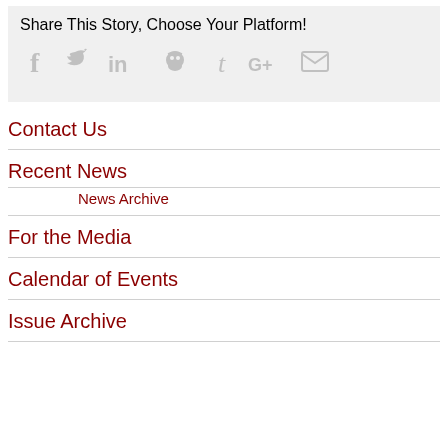Share This Story, Choose Your Platform!
[Figure (infographic): Social sharing icons: Facebook, Twitter, LinkedIn, Reddit, Tumblr, Google+, Email]
Contact Us
Recent News
News Archive
For the Media
Calendar of Events
Issue Archive